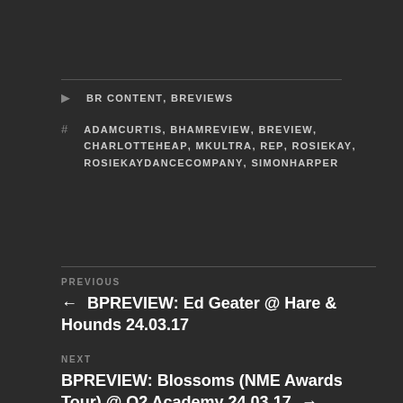BR CONTENT, BREVIEWS
ADAMCURTIS, BHAMREVIEW, BREVIEW, CHARLOTTEHEAP, MKULTRA, REP, ROSIEKAY, ROSIEKAYDANCECOMPANY, SIMONHARPER
PREVIOUS
← BPREVIEW: Ed Geater @ Hare & Hounds 24.03.17
NEXT
BPREVIEW: Blossoms (NME Awards Tour) @ O2 Academy 24.03.17 →